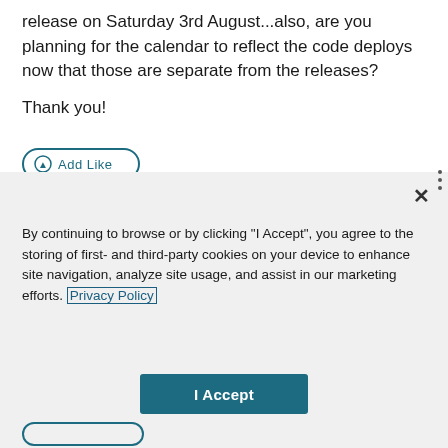release on Saturday 3rd August...also, are you planning for the calendar to reflect the code deploys now that those are separate from the releases?
Thank you!
[Figure (screenshot): Cookie consent modal dialog with close button (×), privacy notice text with Privacy Policy link, 'I Accept' button, and 'Cookies Settings' link on a light gray background]
By continuing to browse or by clicking "I Accept", you agree to the storing of first- and third-party cookies on your device to enhance site navigation, analyze site usage, and assist in our marketing efforts. Privacy Policy
I Accept
Cookies Settings